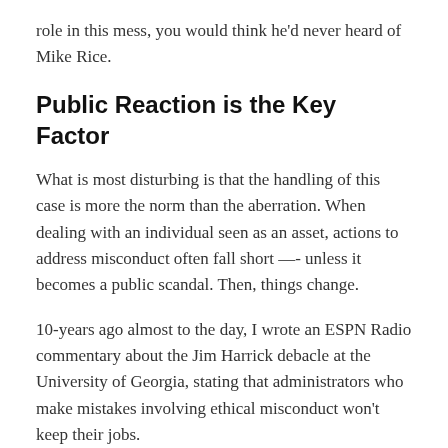role in this mess, you would think he'd never heard of Mike Rice.
Public Reaction is the Key Factor
What is most disturbing is that the handling of this case is more the norm than the aberration. When dealing with an individual seen as an asset, actions to address misconduct often fall short —- unless it becomes a public scandal. Then, things change.
10-years ago almost to the day, I wrote an ESPN Radio commentary about the Jim Harrick debacle at the University of Georgia, stating that administrators who make mistakes involving ethical misconduct won't keep their jobs.
I was wrong.
More often than not, that hasn't been the case. It